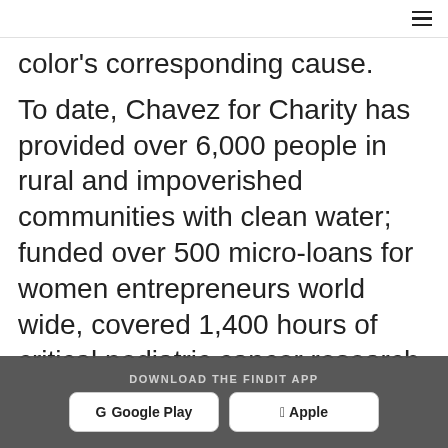≡
color's corresponding cause.
To date, Chavez for Charity has provided over 6,000 people in rural and impoverished communities with clean water; funded over 500 micro-loans for women entrepreneurs world wide, covered 1,400 hours of critical pediatric cancer research, impacted 724 students in Chavez for Life classrooms with
DOWNLOAD THE FINDIT APP  Google Play  Apple